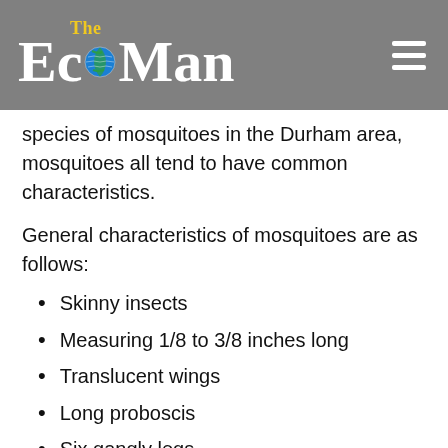The EcoMan
species of mosquitoes in the Durham area, mosquitoes all tend to have common characteristics.
General characteristics of mosquitoes are as follows:
Skinny insects
Measuring 1/8 to 3/8 inches long
Translucent wings
Long proboscis
Six gangly legs
Mosquitoes do have preferences as to where they like to hang out. Generally, they prefer to frequent